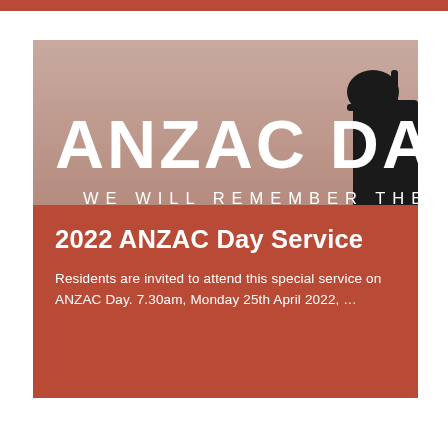[Figure (illustration): ANZAC Day commemoration image with muted pinkish-brown background and a silhouette of a soldier on the right side. Large bold white text reads 'ANZAC DAY' and below it in spaced letters 'WE WILL REMEMBER THEM'.]
2022 ANZAC Day Service
Residents are invited to attend this special service on ANZAC Day. 7.30am, Monday 25th April 2022, ...